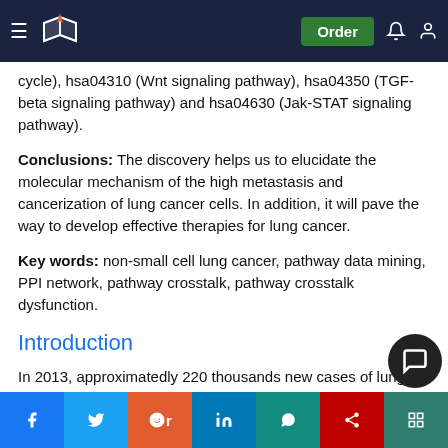Navigation bar with logo, Order button, notification and user icons
cycle), hsa04310 (Wnt signaling pathway), hsa04350 (TGF-beta signaling pathway) and hsa04630 (Jak-STAT signaling pathway).
Conclusions: The discovery helps us to elucidate the molecular mechanism of the high metastasis and cancerization of lung cancer cells. In addition, it will pave the way to develop effective therapies for lung cancer.
Key words: non-small cell lung cancer, pathway data mining, PPI network, pathway crosstalk, pathway crosstalk dysfunction.
Introduction
In 2013, approximatedly 220 thousands new cases of lung cancer are occurred. Among which 160 thousands cases are dead, consequently these
Social sharing bar: Facebook, Twitter, Reddit, LinkedIn, WhatsApp, Mendeley, ResearchGate